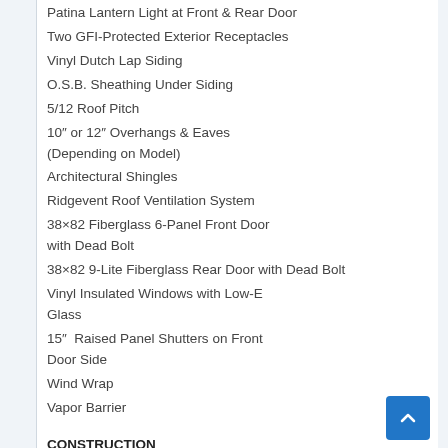Patina Lantern Light at Front & Rear Door
Two GFI-Protected Exterior Receptacles
Vinyl Dutch Lap Siding
O.S.B. Sheathing Under Siding
5/12 Roof Pitch
10" or 12" Overhangs & Eaves (Depending on Model)
Architectural Shingles
Ridgevent Roof Ventilation System
38×82 Fiberglass 6-Panel Front Door with Dead Bolt
38×82 9-Lite Fiberglass Rear Door with Dead Bolt
Vinyl Insulated Windows with Low-E Glass
15"  Raised Panel Shutters on Front Door Side
Wind Wrap
Vapor Barrier
CONSTRUCTION